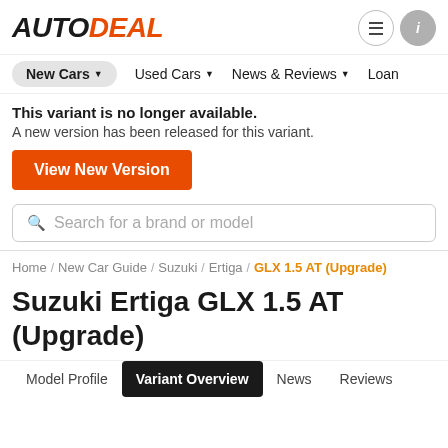AUTODEAL
New Cars · Used Cars · News & Reviews · Loans
This variant is no longer available. A new version has been released for this variant.
View New Version
Search for a brand or model
Home / New Car Guide / Suzuki / Ertiga / GLX 1.5 AT (Upgrade)
Suzuki Ertiga GLX 1.5 AT (Upgrade)
Model Profile  Variant Overview  News  Reviews